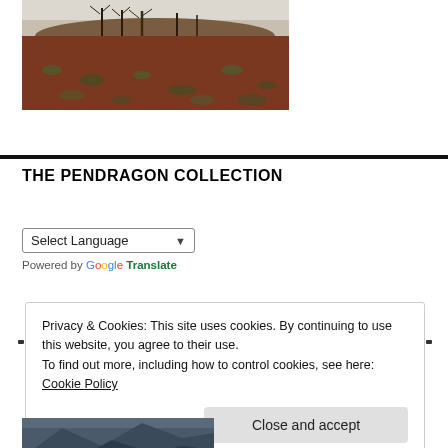[Figure (photo): Outdoor landscape photo showing a low hill with bare trees in the background, and red-brown soil with sparse low plants in the foreground, taken at dusk or dawn.]
THE PENDRAGON COLLECTION
Select Language (dropdown)
Powered by Google Translate
Privacy & Cookies: This site uses cookies. By continuing to use this website, you agree to their use. To find out more, including how to control cookies, see here: Cookie Policy
Close and accept
[Figure (photo): Partial view of a mountainous landscape photo, cut off at the bottom of the page.]